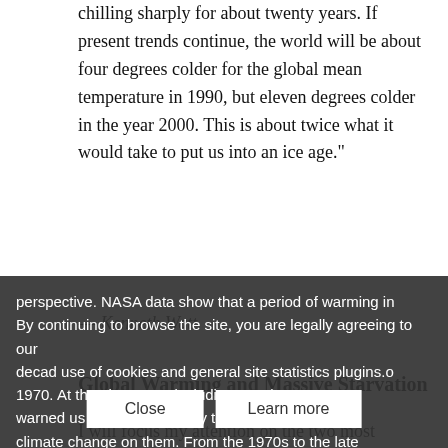chilling sharply for about twenty years. If present trends continue, the world will be about four degrees colder for the global mean temperature in 1990, but eleven degrees colder in the year 2000. This is about twice what it would take to put us into an ice age."
— Kenneth Watt
Global Warming and Massive Starvation
I will focus my attention on the two most important predictions: Global Warming and Massive Starvation. If we return to the failed prediction of global cooling noted above, we can put the temperature data in a wider perspective. NASA data show that a period of warming in By continuing to browse the site, you are legally agreeing to our decad use of cookies and general site statistics plugins.o 1970. At that ti erts, including Carl Sagan, warned us of a ge—only to have the climate change on them. From the 1970s to the late